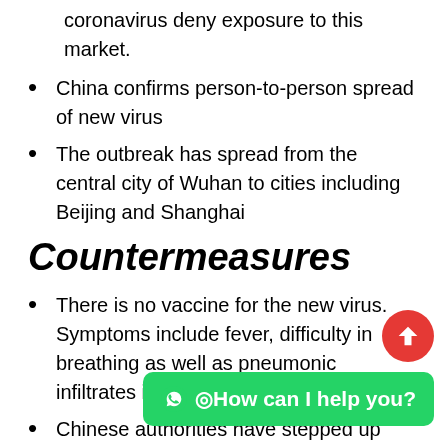coronavirus deny exposure to this market.
China confirms person-to-person spread of new virus
The outbreak has spread from the central city of Wuhan to cities including Beijing and Shanghai
Countermeasures
There is no vaccine for the new virus. Symptoms include fever, difficulty in breathing as well as pneumonic infiltrates in the lungs.
Chinese authorities have stepped up monitoring and disinfection efforts ahead of the Lunar New Year holiday in late January, when many of the country's 1.4 billion people will travel dom
Airport authorities in the United States as well as some...